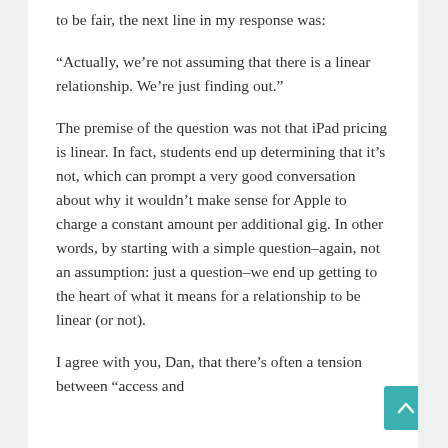to be fair, the next line in my response was:
“Actually, we’re not assuming that there is a linear relationship. We’re just finding out.”
The premise of the question was not that iPad pricing is linear. In fact, students end up determining that it’s not, which can prompt a very good conversation about why it wouldn’t make sense for Apple to charge a constant amount per additional gig. In other words, by starting with a simple question–again, not an assumption: just a question–we end up getting to the heart of what it means for a relationship to be linear (or not).
I agree with you, Dan, that there’s often a tension between “access and…